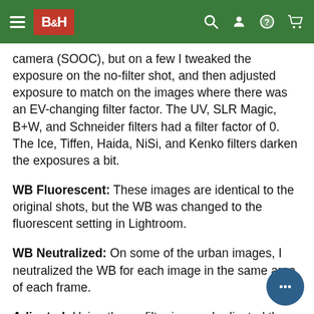B&H
camera (SOOC), but on a few I tweaked the exposure on the no-filter shot, and then adjusted exposure to match on the images where there was an EV-changing filter factor. The UV, SLR Magic, B+W, and Schneider filters had a filter factor of 0. The Ice, Tiffen, Haida, NiSi, and Kenko filters darken the exposures a bit.
WB Fluorescent: These images are identical to the original shots, but the WB was changed to the fluorescent setting in Lightroom.
WB Neutralized: On some of the urban images, I neutralized the WB for each image in the same area of each frame.
Adjusted: Using the no filter image, I adjusted the and "Presence" settings in Lightroom, as well as adding some noise reduction. I then applied the same